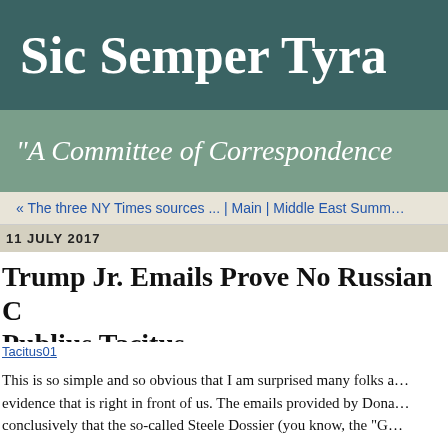Sic Semper Tyra…
"A Committee of Correspondence…
« The three NY Times sources ... | Main | Middle East Summ…
11 JULY 2017
Trump Jr. Emails Prove No Russian C… Publius Tacitus
[Figure (photo): Tacitus01 image placeholder]
This is so simple and so obvious that I am surprised many folks a… evidence that is right in front of us. The emails provided by Dona… conclusively that the so-called Steele Dossier (you know, the "G…